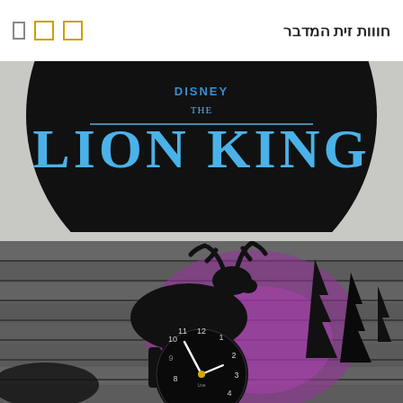חווות זית המדבר
[Figure (photo): A black vinyl record wall clock with 'THE LION KING' Disney branding in blue text on a dark background, photographed against a light wall.]
[Figure (photo): A black vinyl record wall clock featuring a moose/deer silhouette and pine trees, with a clock face showing numbers 8-12 and 1-4, illuminated by purple/pink light against a grey brick wall background.]